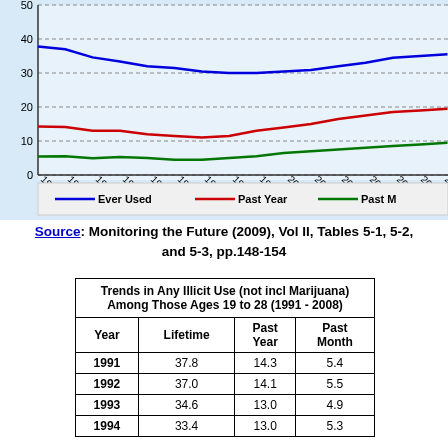[Figure (line-chart): Trends in Any Illicit Use (not incl Marijuana) Among Those Ages 19 to 28 (1991-2006)]
Source: Monitoring the Future (2009), Vol II, Tables 5-1, 5-2, and 5-3, pp.148-154
| Year | Lifetime | Past Year | Past Month |
| --- | --- | --- | --- |
| 1991 | 37.8 | 14.3 | 5.4 |
| 1992 | 37.0 | 14.1 | 5.5 |
| 1993 | 34.6 | 13.0 | 4.9 |
| 1994 | 33.4 | 13.0 | 5.3 |